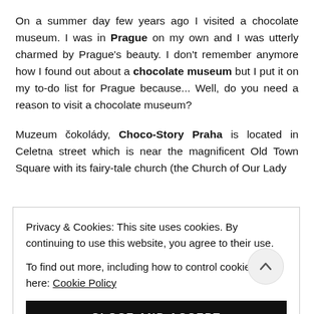On a summer day few years ago I visited a chocolate museum. I was in Prague on my own and I was utterly charmed by Prague's beauty. I don't remember anymore how I found out about a chocolate museum but I put it on my to-do list for Prague because... Well, do you need a reason to visit a chocolate museum?
Muzeum čokolády, Choco-Story Praha is located in Celetna street which is near the magnificent Old Town Square with its fairy-tale church (the Church of Our Lady
Privacy & Cookies: This site uses cookies. By continuing to use this website, you agree to their use.
To find out more, including how to control cookies, see here: Cookie Policy
CLOSE AND ACCEPT
production of the chocolate. It was very informative but